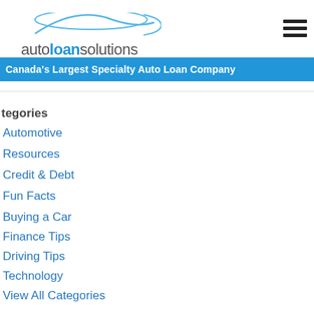autoloansolutions — Canada's Largest Specialty Auto Loan Company
tegories
Automotive
Resources
Credit & Debt
Fun Facts
Buying a Car
Finance Tips
Driving Tips
Technology
View All Categories
ted Articles
[Figure (photo): Person signing or handling documents on a wooden table]